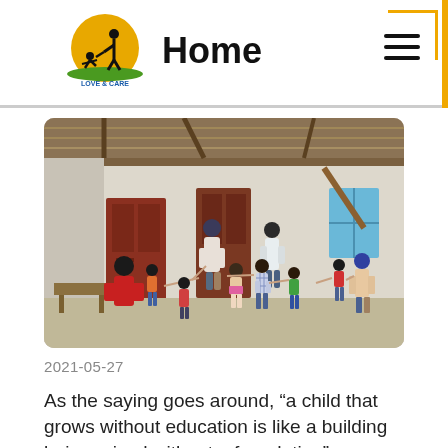Home
[Figure (photo): Group of children and adults standing in a circle indoors in a simple building with white walls, a brown door, and a corrugated metal roof. People are wearing colorful clothing and face masks.]
2021-05-27
As the saying goes around, “a child that grows without education is like a building being raised without a foundation”.